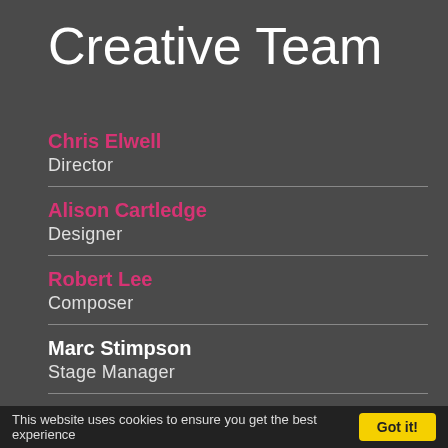Creative Team
Chris Elwell
Director
Alison Cartledge
Designer
Robert Lee
Composer
Marc Stimpson
Stage Manager
(partial name visible)
This website uses cookies to ensure you get the best experience   Got it!